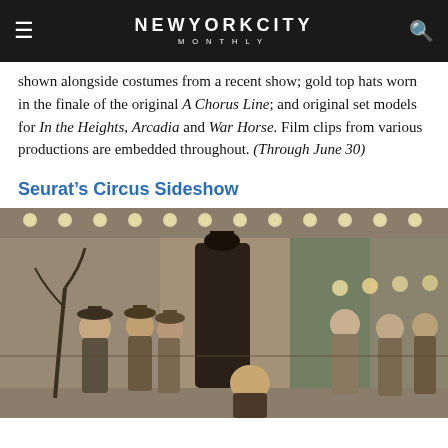NEW YORK CITY MONTHLY
shown alongside costumes from a recent show; gold top hats worn in the finale of the original A Chorus Line; and original set models for In the Heights, Arcadia and War Horse. Film clips from various productions are embedded throughout. (Through June 30)
Seurat’s Circus Sideshow
[Figure (photo): Seurat's Circus Sideshow painting showing performers and audience members in a pointillist style, with a central tall dark-costumed figure, flanked by spectators in bowler hats, and decorative lights along the top]